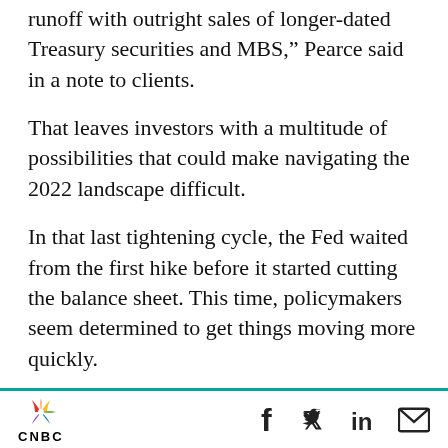runoff with outright sales of longer-dated Treasury securities and MBS,” Pearce said in a note to clients.
That leaves investors with a multitude of possibilities that could make navigating the 2022 landscape difficult.
In that last tightening cycle, the Fed waited from the first hike before it started cutting the balance sheet. This time, policymakers seem determined to get things moving more quickly.
“Markets are concerned that we’ve never seen the Federal Reserve both lift interest rates off
CNBC [logo] | Facebook | Twitter | LinkedIn | Email